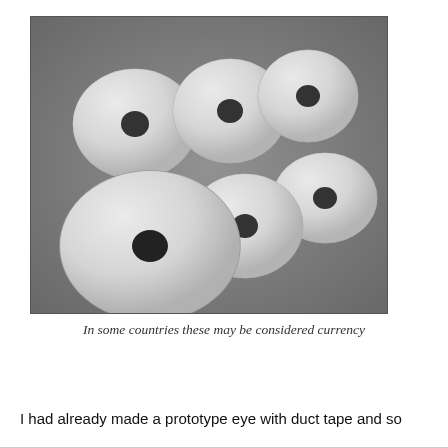[Figure (photo): Six white translucent 3D-printed washer/disk shapes with central holes, arranged on a dark metal surface. They vary in size, with two larger ones in the foreground and four smaller ones behind.]
In some countries these may be considered currency
I had already made a prototype eye with duct tape and so
I transferred the dimensions to my CAD program and